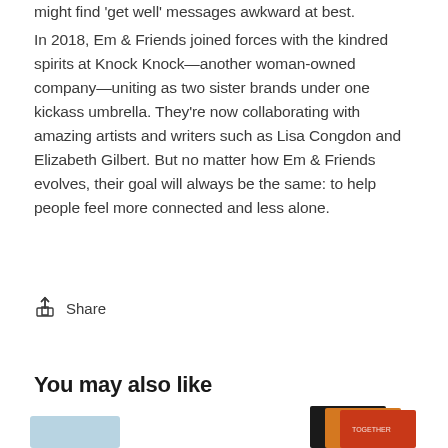might find 'get well' messages awkward at best.
In 2018, Em & Friends joined forces with the kindred spirits at Knock Knock—another woman-owned company—uniting as two sister brands under one kickass umbrella. They're now collaborating with amazing artists and writers such as Lisa Congdon and Elizabeth Gilbert. But no matter how Em & Friends evolves, their goal will always be the same: to help people feel more connected and less alone.
Share
You may also like
[Figure (photo): Product images at bottom of page — partially visible product cards/books]